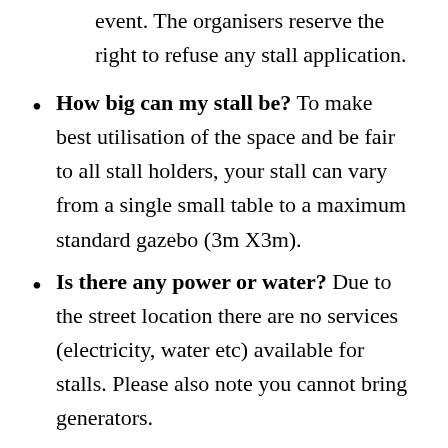event. The organisers reserve the right to refuse any stall application.
How big can my stall be? To make best utilisation of the space and be fair to all stall holders, your stall can vary from a single small table to a maximum standard gazebo (3m X3m).
Is there any power or water? Due to the street location there are no services (electricity, water etc) available for stalls. Please also note you cannot bring generators.